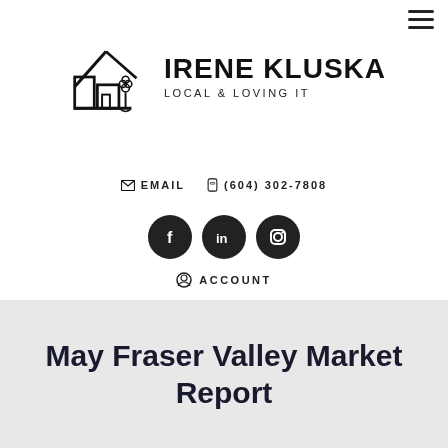[Figure (logo): Irene Kluska real estate logo with house/building silhouette icon and text 'IRENE KLUSKA LOCAL & LOVING IT']
✉ EMAIL  ☎ (604) 302-7808
[Figure (infographic): Three social media circular icon buttons: Facebook (f), LinkedIn (in), Instagram (camera icon)]
⊙ ACCOUNT
May Fraser Valley Market Report